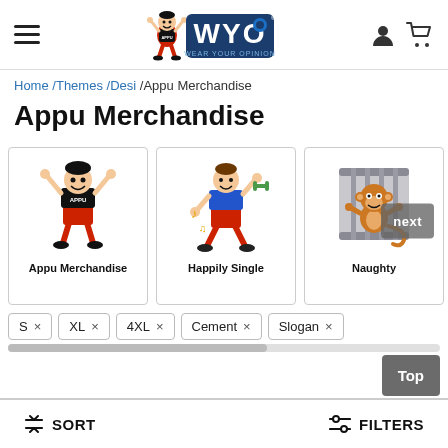WYO — Wear Your Opinion — Navigation header
Home /Themes /Desi /Appu Merchandise
Appu Merchandise
[Figure (illustration): Product category card: Appu Merchandise — cartoon mascot character jumping with arms raised, wearing a black shirt and red shorts]
[Figure (illustration): Product category card: Happily Single — cartoon character dancing with music notes]
[Figure (illustration): Product category card: Naughty — cartoon monkey behind bars]
S × XL × 4XL × Cement × Slogan ×
↕ SORT    ☰ FILTERS